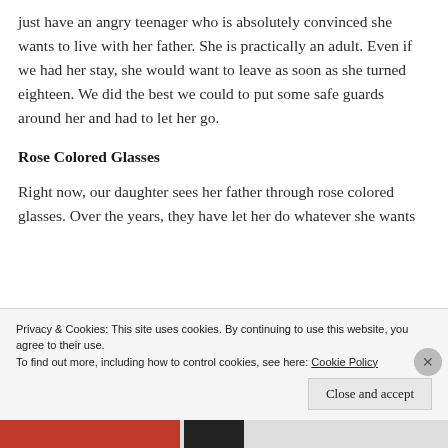just have an angry teenager who is absolutely convinced she wants to live with her father. She is practically an adult. Even if we had her stay, she would want to leave as soon as she turned eighteen. We did the best we could to put some safe guards around her and had to let her go.
Rose Colored Glasses
Right now, our daughter sees her father through rose colored glasses. Over the years, they have let her do whatever she wants
Privacy & Cookies: This site uses cookies. By continuing to use this website, you agree to their use.
To find out more, including how to control cookies, see here: Cookie Policy